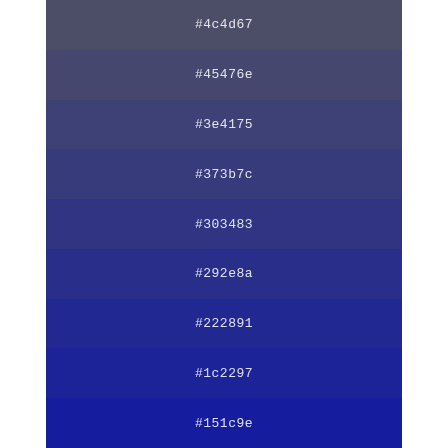[Figure (infographic): Color swatch palette showing a gradient from muted blue-gray (#4c4d67) through increasingly saturated and darker blues down to deep blue (#151c9e), with hex color codes labeled on each swatch strip.]
#4c4d67
#45476e
#3e4175
#373b7c
#303483
#292e8a
#222891
#1c2297
#151c9e